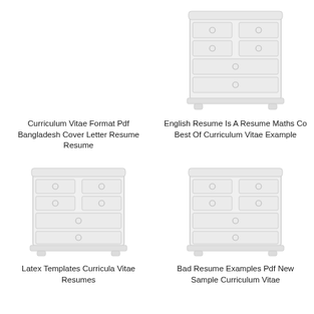[Figure (illustration): Illustration of a white dresser/chest of drawers, upper left, no visible image (blank placeholder)]
Curriculum Vitae Format Pdf Bangladesh Cover Letter Resume Resume
[Figure (illustration): Illustration of a white dresser/chest of drawers with drawer handles, upper right]
English Resume Is A Resume Maths Co Best Of Curriculum Vitae Example
[Figure (illustration): Illustration of a white dresser/chest of drawers with drawer handles, lower left]
Latex Templates Curricula Vitae Resumes
[Figure (illustration): Illustration of a white dresser/chest of drawers with drawer handles, lower right]
Bad Resume Examples Pdf New Sample Curriculum Vitae